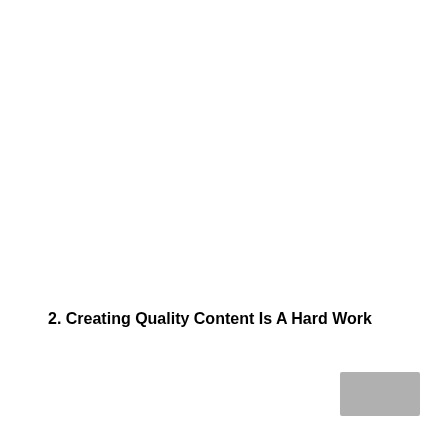2. Creating Quality Content Is A Hard Work